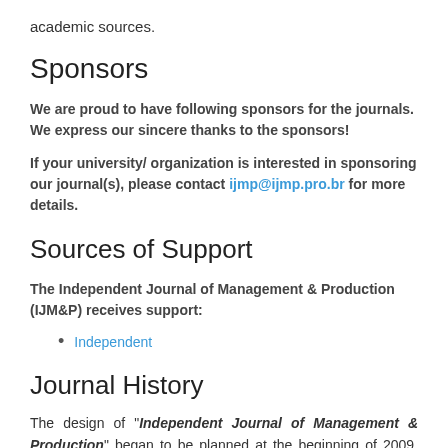academic sources.
Sponsors
We are proud to have following sponsors for the journals. We express our sincere thanks to the sponsors!
If your university/ organization is interested in sponsoring our journal(s), please contact ijmp@ijmp.pro.br for more details.
Sources of Support
The Independent Journal of Management & Production (IJM&P) receives support:
Independent
Journal History
The design of "Independent Journal of Management & Production" began to be planned at the beginning of 2009, named "Revista Independente de Administração & Produção" in order to publish paperworks of undergraduate students, as well as dissertations